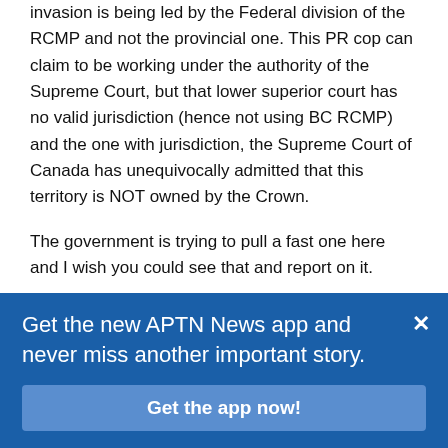invasion is being led by the Federal division of the RCMP and not the provincial one. This PR cop can claim to be working under the authority of the Supreme Court, but that lower superior court has no valid jurisdiction (hence not using BC RCMP) and the one with jurisdiction, the Supreme Court of Canada has unequivocally admitted that this territory is NOT owned by the Crown.
The government is trying to pull a fast one here and I wish you could see that and report on it.
Cash Cardinal says:
January 6, 2019 at 2:12 am
Get the new APTN News app and never miss another important story.
Get the app now!